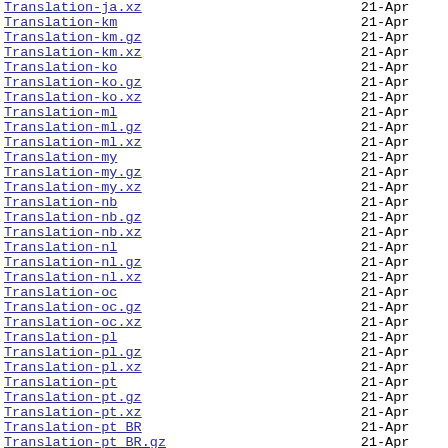Translation-ja.xz  21-Apr
Translation-km  21-Apr
Translation-km.gz  21-Apr
Translation-km.xz  21-Apr
Translation-ko  21-Apr
Translation-ko.gz  21-Apr
Translation-ko.xz  21-Apr
Translation-ml  21-Apr
Translation-ml.gz  21-Apr
Translation-ml.xz  21-Apr
Translation-my  21-Apr
Translation-my.gz  21-Apr
Translation-my.xz  21-Apr
Translation-nb  21-Apr
Translation-nb.gz  21-Apr
Translation-nb.xz  21-Apr
Translation-nl  21-Apr
Translation-nl.gz  21-Apr
Translation-nl.xz  21-Apr
Translation-oc  21-Apr
Translation-oc.gz  21-Apr
Translation-oc.xz  21-Apr
Translation-pl  21-Apr
Translation-pl.gz  21-Apr
Translation-pl.xz  21-Apr
Translation-pt  21-Apr
Translation-pt.gz  21-Apr
Translation-pt.xz  21-Apr
Translation-pt_BR  21-Apr
Translation-pt_BR.gz  21-Apr